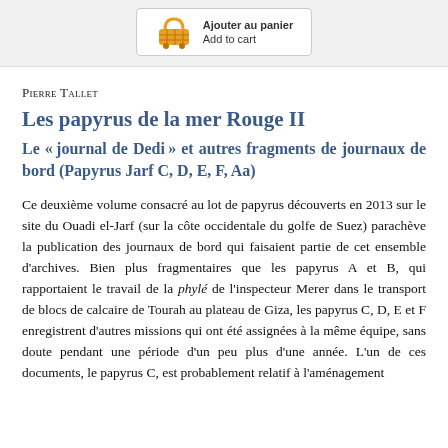[Figure (other): Shopping cart button with 'Ajouter au panier / Add to cart' text in French and English, with a yellow basket icon]
Pierre Tallet
Les papyrus de la mer Rouge II
Le « journal de Dedi » et autres fragments de journaux de bord (Papyrus Jarf C, D, E, F, Aa)
Ce deuxième volume consacré au lot de papyrus découverts en 2013 sur le site du Ouadi el-Jarf (sur la côte occidentale du golfe de Suez) parachève la publication des journaux de bord qui faisaient partie de cet ensemble d'archives. Bien plus fragmentaires que les papyrus A et B, qui rapportaient le travail de la phylé de l'inspecteur Merer dans le transport de blocs de calcaire de Tourah au plateau de Giza, les papyrus C, D, E et F enregistrent d'autres missions qui ont été assignées à la même équipe, sans doute pendant une période d'un peu plus d'une année. L'un de ces documents, le papyrus C, est probablement relatif à l'aménagement